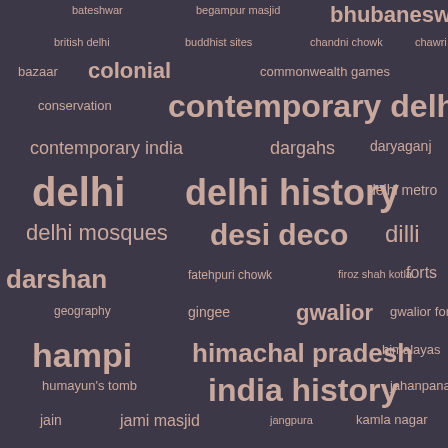[Figure (infographic): Word cloud on dark purple-grey background with terms related to Delhi, India, and historical/geographic topics. Words vary in size indicating frequency/importance. Terms include: bateshwar, begampur masjid, bhubaneswar, british delhi, buddhist sites, chandni chowk, chawri, bazaar, colonial, commonwealth games, conservation, contemporary delhi, contemporary india, dargahs, daryaganj, delhi, delhi history, delhi metro, delhi mosques, desi deco, dilli, darshan, fatehpuri chowk, firoz shah kotla, forts, geography, gingee, gwalior, gwalior fort, hampi, himachal pradesh, himalayas, humayun's tomb, india history, jahanpanah, jain, jami masjid, jangpura, kamla nagar, kanchipuram, Karnataka, karol bagh, kashmir, khari baoli, khirki masjid, konarak, konark, lodhi, madhya pradesh, mandu]